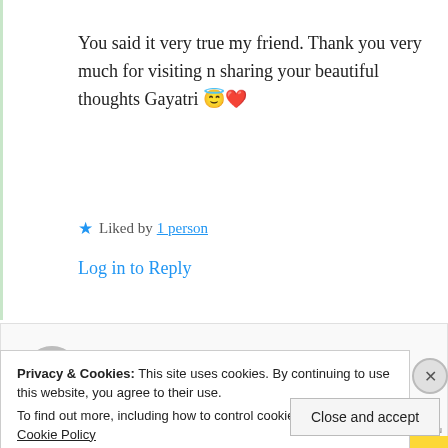You said it very true my friend. Thank you very much for visiting n sharing your beautiful thoughts Gayatri 😇❤️
★ Liked by 1 person
Log in to Reply
ahmad khizar
26th Jun 2021 at 9:23 pm
Privacy & Cookies: This site uses cookies. By continuing to use this website, you agree to their use. To find out more, including how to control cookies, see here: Cookie Policy
Close and accept